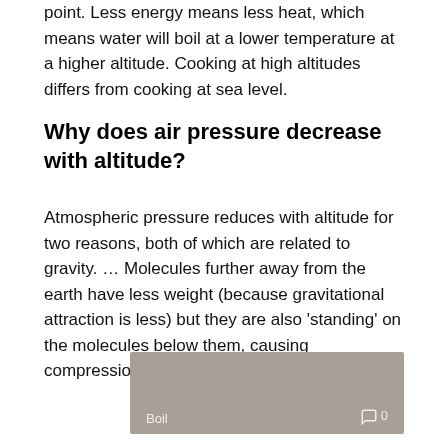point. Less energy means less heat, which means water will boil at a lower temperature at a higher altitude. Cooking at high altitudes differs from cooking at sea level.
Why does air pressure decrease with altitude?
Atmospheric pressure reduces with altitude for two reasons, both of which are related to gravity. … Molecules further away from the earth have less weight (because gravitational attraction is less) but they are also 'standing' on the molecules below them, causing compression.
[Figure (photo): A grey/beige image labeled 'Boil' with a comment icon showing 0 comments]
How long do you let eggs boil before